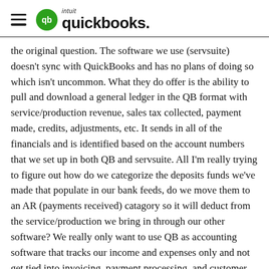intuit quickbooks
the original question. The software we use (servsuite) doesn't sync with QuickBooks and has no plans of doing so which isn't uncommon. What they do offer is the ability to pull and download a general ledger in the QB format with service/production revenue, sales tax collected, payment made, credits, adjustments, etc. It sends in all of the financials and is identified based on the account numbers that we set up in both QB and servsuite. All I'm really trying to figure out how do we categorize the deposits funds we've made that populate in our bank feeds, do we move them to an AR (payments received) catagory so it will deduct from the service/production we bring in through our other software? We really only want to use QB as accounting software that tracks our income and expenses only and not get tied into invoicing, payment processing, and customer management.